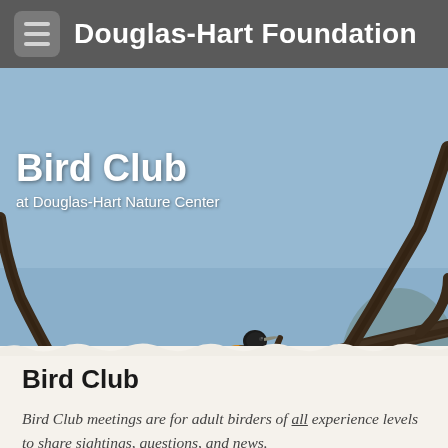Douglas-Hart Foundation
[Figure (photo): An orange and black Baltimore Oriole bird perched on a bare tree branch against a light blue sky background, with the text 'Bird Club at Douglas-Hart Nature Center' overlaid in white in the upper left.]
Bird Club
Bird Club meetings are for adult birders of all experience levels to share sightings, questions, and news.